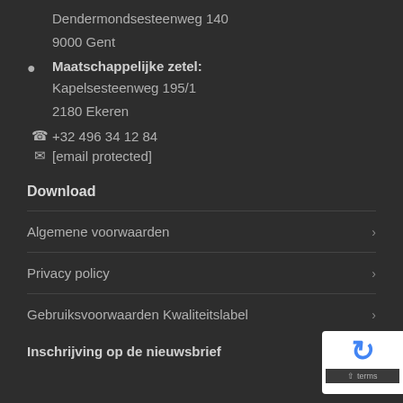Dendermondsesteenweg 140
9000 Gent
Maatschappelijke zetel:
Kapelsesteenweg 195/1
2180 Ekeren
+32 496 34 12 84
[email protected]
Download
Algemene voorwaarden
Privacy policy
Gebruiksvoorwaarden Kwaliteitslabel
Inschrijving op de nieuwsbrief